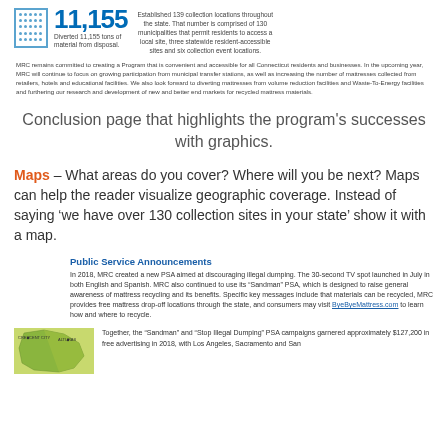[Figure (infographic): Icon of a grid/dots box next to the number 11,155 in large blue bold text, with label 'Diverted 11,155 tons of material from disposal.' and right-side text about 139 collection locations.]
MRC remains committed to creating a Program that is convenient and accessible for all Connecticut residents and businesses. In the upcoming year, MRC will continue to focus on growing participation from municipal transfer stations, as well as increasing the number of mattresses collected from retailers, hotels and educational facilities. We also look forward to diverting mattresses from volume reduction facilities and Waste-To-Energy facilities and furthering our research and development of new and better end markets for recycled mattress materials.
Conclusion page that highlights the program's successes with graphics.
Maps – What areas do you cover? Where will you be next? Maps can help the reader visualize geographic coverage. Instead of saying ‘we have over 130 collection sites in your state’ show it with a map.
Public Service Announcements
In 2018, MRC created a new PSA aimed at discouraging illegal dumping. The 30-second TV spot launched in July in both English and Spanish. MRC also continued to use its “Sandman” PSA, which is designed to raise general awareness of mattress recycling and its benefits. Specific key messages include that materials can be recycled, MRC provides free mattress drop-off locations through the state, and consumers may visit ByeByeMattress.com to learn how and where to recycle.
[Figure (map): Partial map showing green/yellow California region with city labels like Crescent City, Alturas.]
Together, the “Sandman” and “Stop Illegal Dumping” PSA campaigns garnered approximately $127,200 in free advertising in 2018, with Los Angeles, Sacramento and San